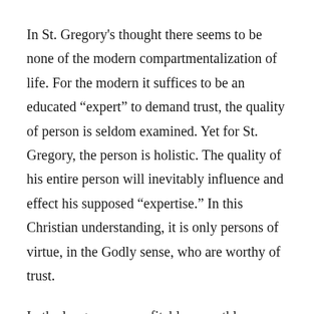In St. Gregory's thought there seems to be none of the modern compartmentalization of life. For the modern it suffices to be an educated “expert” to demand trust, the quality of person is seldom examined. Yet for St. Gregory, the person is holistic. The quality of his entire person will inevitably influence and effect his supposed “expertise.” In this Christian understanding, it is only persons of virtue, in the Godly sense, who are worthy of trust.
In the long run, as profitable as earthly science and knowledge are in their own right, they are powerless to save humanity. St. Gregory clearly states that only the heavenly Wisdom is capable of this fundamental goal of